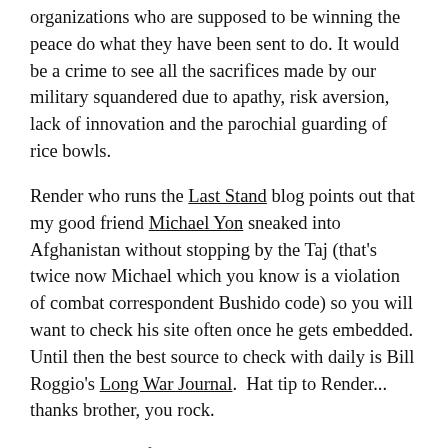organizations who are supposed to be winning the peace do what they have been sent to do. It would be a crime to see all the sacrifices made by our military squandered due to apathy, risk aversion, lack of innovation and the parochial guarding of rice bowls.
Render who runs the Last Stand blog points out that my good friend Michael Yon sneaked into Afghanistan without stopping by the Taj (that's twice now Michael which you know is a violation of combat correspondent Bushido code) so you will want to check his site often once he gets embedded. Until then the best source to check with daily is Bill Roggio's Long War Journal.  Hat tip to Render... thanks brother, you rock.
* David Guttenfelder is an exceptionally talented professional photographer.   You can find a collection of his work at on this website.